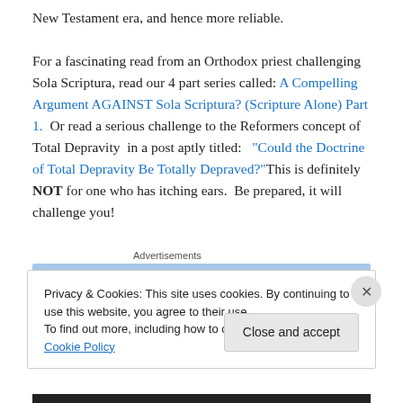New Testament era, and hence more reliable.

For a fascinating read from an Orthodox priest challenging Sola Scriptura, read our 4 part series called: A Compelling Argument AGAINST Sola Scriptura? (Scripture Alone) Part 1.  Or read a serious challenge to the Reformers concept of Total Depravity  in a post aptly titled:   “Could the Doctrine of Total Depravity Be Totally Depraved?”This is definitely NOT for one who has itching ears.  Be prepared, it will challenge you!
Advertisements
Privacy & Cookies: This site uses cookies. By continuing to use this website, you agree to their use.
To find out more, including how to control cookies, see here: Cookie Policy
Close and accept